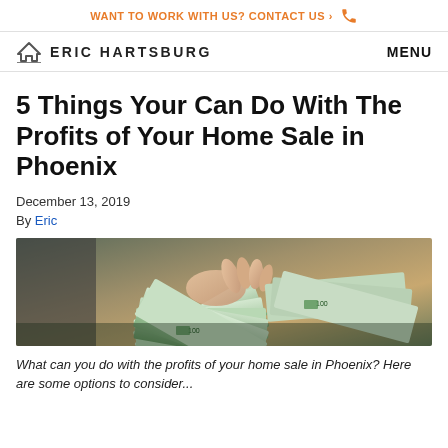WANT TO WORK WITH US? CONTACT US ›
ERIC HARTSBURG   MENU
5 Things Your Can Do With The Profits of Your Home Sale in Phoenix
December 13, 2019
By Eric
[Figure (photo): Hands holding fanned-out US hundred dollar bills]
What can you do with the profits of your home sale in Phoenix? Here are some options to consider...